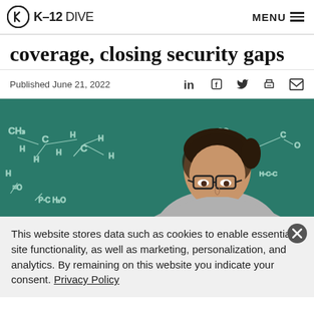K-12 DIVE  MENU
coverage, closing security gaps
Published June 21, 2022
[Figure (photo): A woman with glasses looking down in front of a chalkboard with chemistry formulas written on it]
This website stores data such as cookies to enable essential site functionality, as well as marketing, personalization, and analytics. By remaining on this website you indicate your consent. Privacy Policy